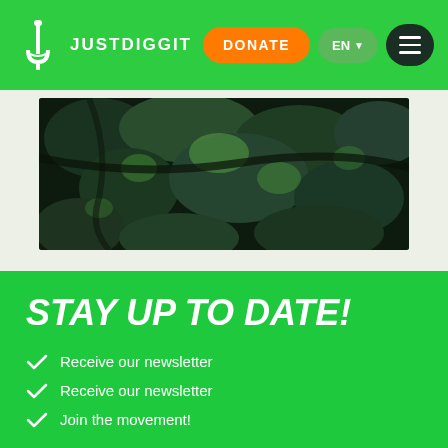JUSTDIGGIT | DONATE | EN | Menu
[Figure (photo): Aerial view of a dense green forest canopy photographed from above]
STAY UP TO DATE!
Receive our newsletter
Receive our newsletter
Join the movement!